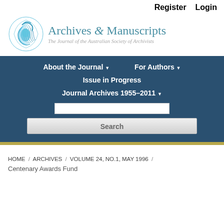Register  Login
[Figure (logo): Archives & Manuscripts journal logo: circular blue hand/scroll illustration with title text 'Archives & Manuscripts' and subtitle 'The Journal of the Australian Society of Archivists']
Archives & Manuscripts – The Journal of the Australian Society of Archivists
About the Journal
For Authors
Issue in Progress
Journal Archives 1955–2011
HOME / ARCHIVES / VOLUME 24, NO.1, MAY 1996 / Centenary Awards Fund